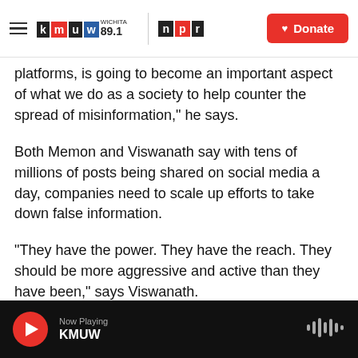KMUW WICHITA 89.1 | NPR | Donate
platforms, is going to become an important aspect of what we do as a society to help counter the spread of misinformation," he says.
Both Memon and Viswanath say with tens of millions of posts being shared on social media a day, companies need to scale up efforts to take down false information.
"They have the power. They have the reach. They should be more aggressive and active than they have been," says Viswanath.
Memon suggests that companies could deploy
Now Playing KMUW